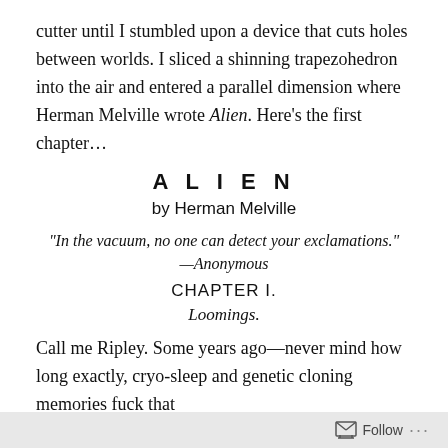cutter until I stumbled upon a device that cuts holes between worlds. I sliced a shinning trapezohedron into the air and entered a parallel dimension where Herman Melville wrote Alien. Here's the first chapter…
A L I E N
by Herman Melville
“In the vacuum, no one can detect your exclamations.” —Anonymous
CHAPTER I.
Loomings.
Call me Ripley. Some years ago—never mind how long exactly, cryo-sleep and genetic cloning memories fuck that
Follow